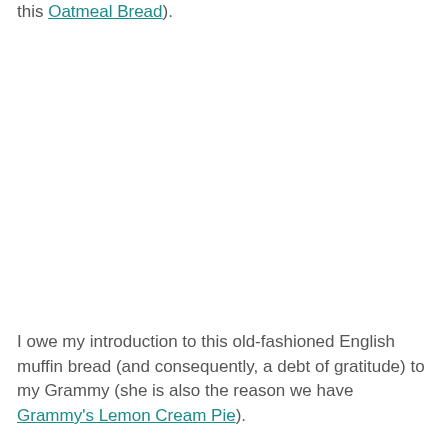this Oatmeal Bread).
I owe my introduction to this old-fashioned English muffin bread (and consequently, a debt of gratitude) to my Grammy (she is also the reason we have Grammy's Lemon Cream Pie).